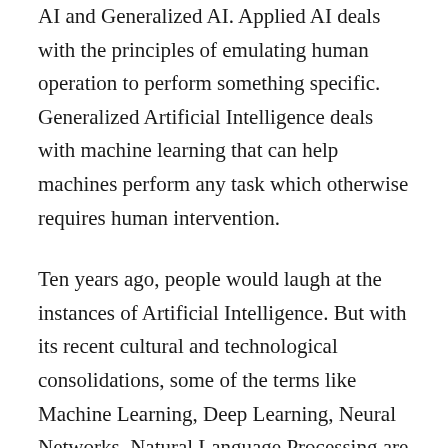AI and Generalized AI. Applied AI deals with the principles of emulating human operation to perform something specific. Generalized Artificial Intelligence deals with machine learning that can help machines perform any task which otherwise requires human intervention.
Ten years ago, people would laugh at the instances of Artificial Intelligence. But with its recent cultural and technological consolidations, some of the terms like Machine Learning, Deep Learning, Neural Networks, Natural Language Processing are becoming popular. Here’s a concise guide to understanding these recurrently used terms.